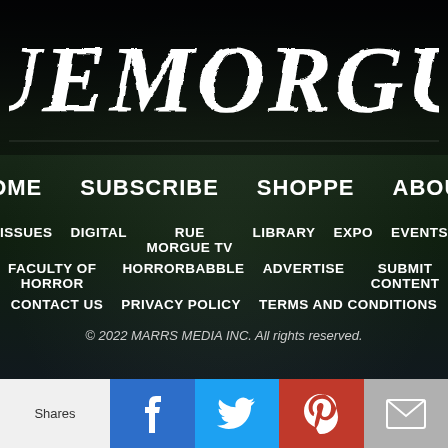[Figure (logo): Rue Morgue horror magazine logo in large distressed white gothic lettering on dark background with tree branch motifs]
HOME   SUBSCRIBE   SHOPPE   ABOUT
ISSUES   DIGITAL   RUE MORGUE TV   LIBRARY   EXPO   EVENTS
FACULTY OF HORROR   HORRORBABBLE   ADVERTISE   SUBMIT CONTENT
CONTACT US   PRIVACY POLICY   TERMS AND CONDITIONS
© 2022 MARRS MEDIA INC. All rights reserved.
[Figure (infographic): Social sharing bar with Shares label, Facebook (blue), Twitter (light blue), Pinterest (red), and Email (grey) buttons]